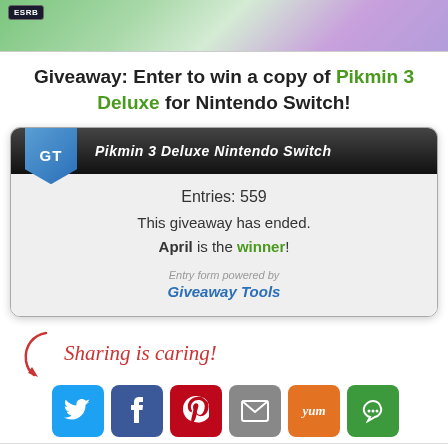[Figure (photo): Top portion of a game box art image showing colorful flowers/nature scene with an ESRB badge]
Giveaway: Enter to win a copy of Pikmin 3 Deluxe for Nintendo Switch!
[Figure (infographic): Giveaway Tools widget showing: Pikmin 3 Deluxe Nintendo Switch, Entries: 559, This giveaway has ended. April is the winner! Entry form powered by Giveaway Tools]
Sharing is caring!
[Figure (infographic): Social sharing buttons: Twitter, Facebook, Pinterest, Email, Yummly, More]
Filed Under: GIVEAWAYS, TOYS AND GAMES